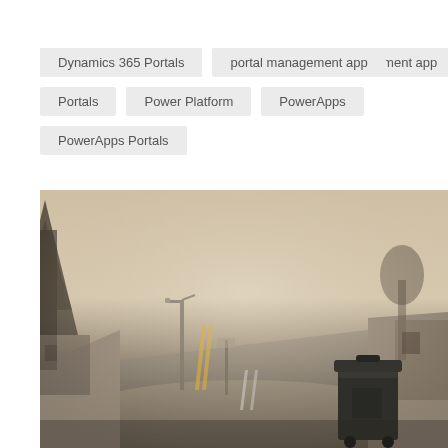Dynamics 365 Portals
portal management app
Portals
Power Platform
PowerApps
PowerApps Portals
[Figure (photo): A foggy street scene showing a road with double yellow lines, a lamppost, bare trees, buildings on either side, and a dark wheelie bin on the right pavement.]